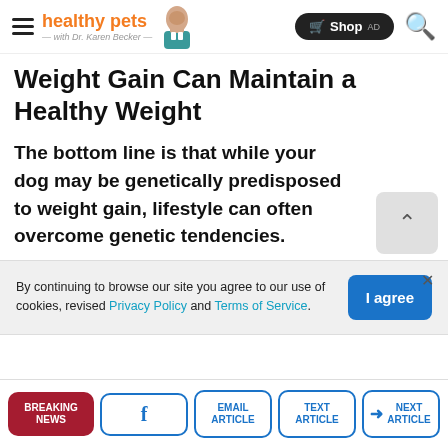healthy pets with Dr. Karen Becker — Shop AD
Weight Gain Can Maintain a Healthy Weight
The bottom line is that while your dog may be genetically predisposed to weight gain, lifestyle can often overcome genetic tendencies.
By continuing to browse our site you agree to our use of cookies, revised Privacy Policy and Terms of Service.
BREAKING NEWS | Facebook | EMAIL ARTICLE | TEXT ARTICLE | NEXT ARTICLE